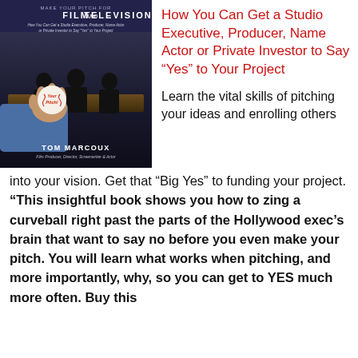[Figure (photo): Book cover for a film and television pitching guide by Tom Marcoux, showing silhouettes of people and a hand holding a baseball with 'Your Pitch' written on it. Dark background with white text.]
How You Can Get a Studio Executive, Producer, Name Actor or Private Investor to Say “Yes” to Your Project
Learn the vital skills of pitching your ideas and enrolling others into your vision. Get that “Big Yes” to funding your project. “This insightful book shows you how to zing a curveball right past the parts of the Hollywood exec’s brain that want to say no before you even make your pitch. You will learn what works when pitching, and more importantly, why, so you can get to YES much more often. Buy this